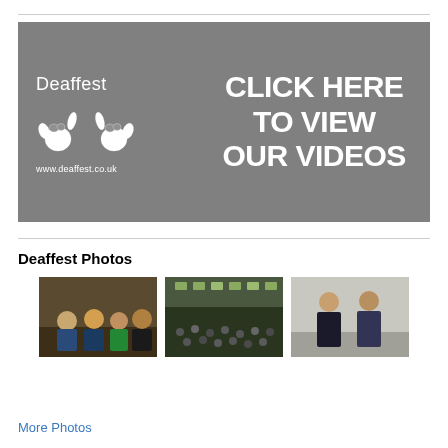[Figure (infographic): Deaffest promotional banner with grey background, two hand sign illustrations, text 'Deaffest', 'www.deaffest.co.uk', and large text 'CLICK HERE TO VIEW OUR VIDEOS']
Deaffest Photos
[Figure (photo): Three thumbnail photos of Deaffest event: group of people posing, crowd at event venue, two women standing]
More Photos